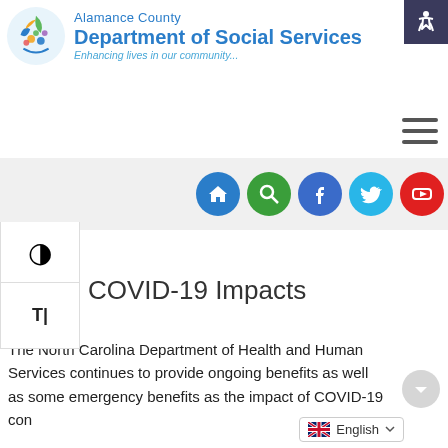[Figure (logo): Alamance County Department of Social Services logo with colorful circle emblem and text 'Enhancing lives in our community...']
[Figure (infographic): Navigation bar with social media icons: home, search, Facebook, Twitter, YouTube]
[Figure (infographic): Accessibility tools panel with contrast toggle and text size buttons]
COVID-19 Impacts
The North Carolina Department of Health and Human Services continues to provide ongoing benefits as well as some emergency benefits as the impact of COVID-19 con...